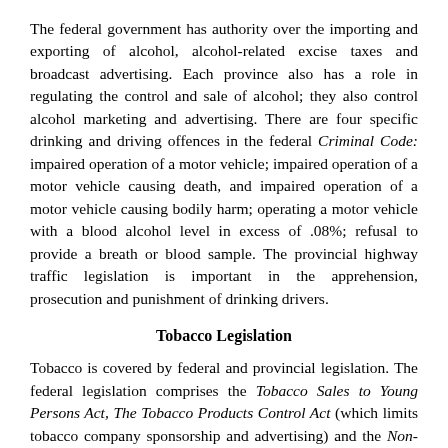The federal government has authority over the importing and exporting of alcohol, alcohol-related excise taxes and broadcast advertising. Each province also has a role in regulating the control and sale of alcohol; they also control alcohol marketing and advertising. There are four specific drinking and driving offences in the federal Criminal Code: impaired operation of a motor vehicle; impaired operation of a motor vehicle causing death, and impaired operation of a motor vehicle causing bodily harm; operating a motor vehicle with a blood alcohol level in excess of .08%; refusal to provide a breath or blood sample. The provincial highway traffic legislation is important in the apprehension, prosecution and punishment of drinking drivers.
Tobacco Legislation
Tobacco is covered by federal and provincial legislation. The federal legislation comprises the Tobacco Sales to Young Persons Act, The Tobacco Products Control Act (which limits tobacco company sponsorship and advertising) and the Non-smokers Health Act (which restricts smoking areas). Some provinces have enacted workplace smoking legislation and most prohibit sales of tobacco to young people. Since the mid-1980s, the number of municipalities that have enacted smoking by-laws regarding where smoking can take place has increased rapidly.